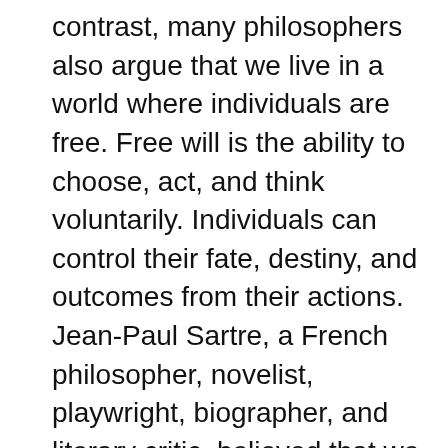contrast, many philosophers also argue that we live in a world where individuals are free. Free will is the ability to choose, act, and think voluntarily. Individuals can control their fate, destiny, and outcomes from their actions. Jean-Paul Sartre, a French philosopher, novelist, playwright, biographer, and literary critic, believed that we humans were in charge of our destiny and we could change the outcome of any event by changing our actions and decisions made. Individuals will act on their desires and from their actions, there will be an outcome. Jean-Paul Sartre says, “Freedom is existence, and in it existence precedes essence.” This means individual acts will determine the outcomes. He gives an example that states, that an individual does